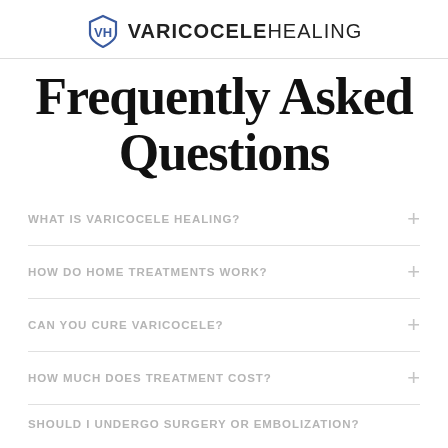VARICOCELE HEALING
Frequently Asked Questions
WHAT IS VARICOCELE HEALING?
HOW DO HOME TREATMENTS WORK?
CAN YOU CURE VARICOCELE?
HOW MUCH DOES TREATMENT COST?
SHOULD I UNDERGO SURGERY OR EMBOLIZATION?